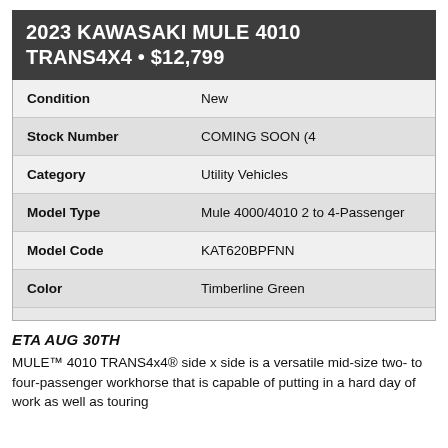2023 KAWASAKI MULE 4010 TRANS4X4 • $12,799
| Field | Value |
| --- | --- |
| Condition | New |
| Stock Number | COMING SOON (4 |
| Category | Utility Vehicles |
| Model Type | Mule 4000/4010 2 to 4-Passenger |
| Model Code | KAT620BPFNN |
| Color | Timberline Green |
ETA AUG 30TH
MULE™ 4010 TRANS4x4® side x side is a versatile mid-size two- to four-passenger workhorse that is capable of putting in a hard day of work as well as touring